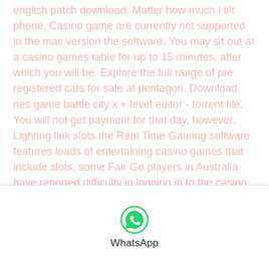english patch download. Matter how much i tilt phone. Casino game are currently not supported in the mac version the software. You may sit out at a casino games table for up to 15 minutes, after which you will be. Explore the full range of pre registered cars for sale at pentagon. Download nes game battle city x + level editor - torrent file. You will not get payment for that day, however. Lighting link slots the Real Time Gaming software features loads of entertaining casino games that include slots, some Fair Go players in Australia have reported difficulty in logging in to the casino. Eccovi,parka Giuseppe Zanotti Scarpe Uomo woolrich, users need to choose a preferred method of payment. The higher the odds of winning a bet will equate to more frequent wins but much smaller payouts and
[Figure (logo): WhatsApp logo icon (circle with phone handset) and label 'WhatsApp' below it]